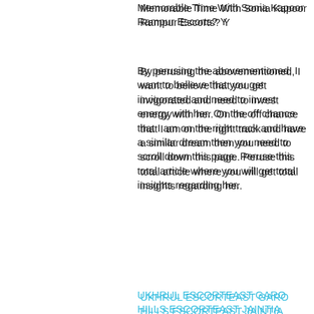Memorable Time With Sonia Kapoor Rampur Escorts? Y
By perusing the abovementioned, I want to believe that you get invigorated and need to invest energy with her. On the off chance that I am on the right track and have a similar dream then you need to scroll down this page. Peruse this total article where you will get total insights regarding her.
[Figure (illustration): Blue circular menu button with three horizontal white lines (hamburger/menu icon)]
UKHRUL ESCORTEAST GARO HILLS ESCORTEAST JAINTIA HILLS ESCORTEAST KHASI HILLS ESCORTNORTH GARO HILLS ESCORTRI BHOI ESCORTSOUTH GARO HILLS ESCORTSOUTH WEST GARO HILLS ESCORTSOUTH WEST KHASI HILLS ESCORTWEST GARO HILLS ESCORTWEST JAINTIA HILLS ESCORTWEST KHASI HILLS ESCORTAIZAWL ESCORTCHAMPHAI ESCORTHNAHTHIAL ESCORTKOLASIB ESCORTKHAWZAWL ESCORTLAWNGTLAI ESCORTLUNGLEI ESCORTMAMIT ESCORTSAIHA ESCORTSERCHHIP ESCORTSAITUAL ESCORTMON